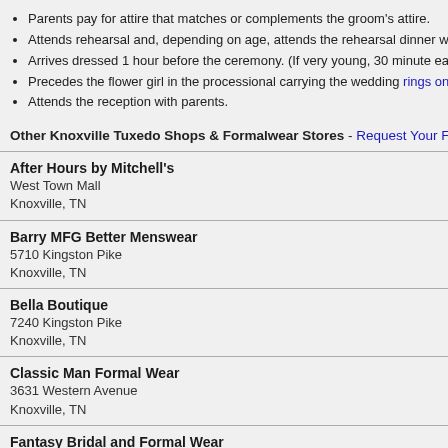Parents pay for attire that matches or complements the groom's attire.
Attends rehearsal and, depending on age, attends the rehearsal dinner with her
Arrives dressed 1 hour before the ceremony. (If very young, 30 minute early ma
Precedes the flower girl in the processional carrying the wedding rings on a pill
Attends the reception with parents.
Other Knoxville Tuxedo Shops & Formalwear Stores - Request Your Free Basic Listing
After Hours by Mitchell's
West Town Mall
Knoxville, TN
Barry MFG Better Menswear
5710 Kingston Pike
Knoxville, TN
Bella Boutique
7240 Kingston Pike
Knoxville, TN
Classic Man Formal Wear
3631 Western Avenue
Knoxville, TN
Fantasy Bridal and Formal Wear
Contact: Virginia Williams
526 E. Parkway, Suite 1
Gatlinburg, TN